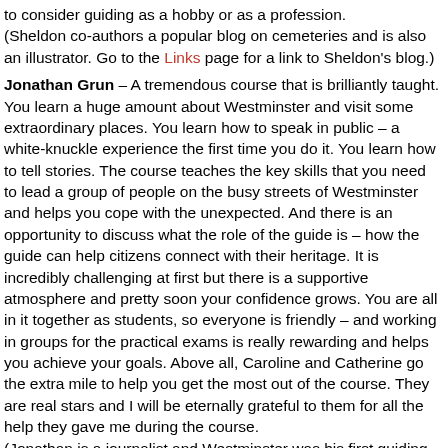to consider guiding as a hobby or as a profession.
(Sheldon co-authors a popular blog on cemeteries and is also an illustrator. Go to the Links page for a link to Sheldon's blog.)
Jonathan Grun – A tremendous course that is brilliantly taught. You learn a huge amount about Westminster and visit some extraordinary places. You learn how to speak in public – a white-knuckle experience the first time you do it. You learn how to tell stories. The course teaches the key skills that you need to lead a group of people on the busy streets of Westminster and helps you cope with the unexpected. And there is an opportunity to discuss what the role of the guide is – how the guide can help citizens connect with their heritage. It is incredibly challenging at first but there is a supportive atmosphere and pretty soon your confidence grows. You are all in it together as students, so everyone is friendly – and working in groups for the practical exams is really rewarding and helps you achieve your goals. Above all, Caroline and Catherine go the extra mile to help you get the most out of the course. They are real stars and I will be eternally grateful to them for all the help they gave me during the course.
(Jonathan is a journalist and Westminster was his first guiding course.)